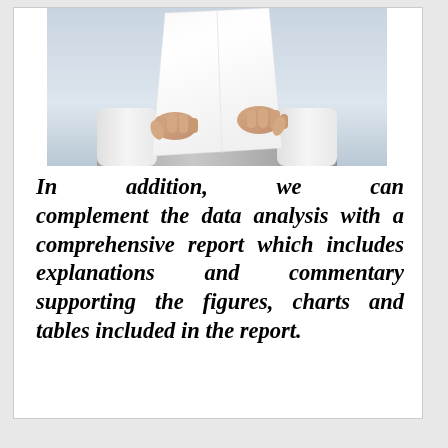[Figure (photo): Two hands holding up a white sheet of paper against a light grey/blue gradient background. The person is wearing a white shirt and grey jacket, visible from chest down.]
In addition, we can complement the data analysis with a comprehensive report which includes explanations and commentary supporting the figures, charts and tables included in the report.